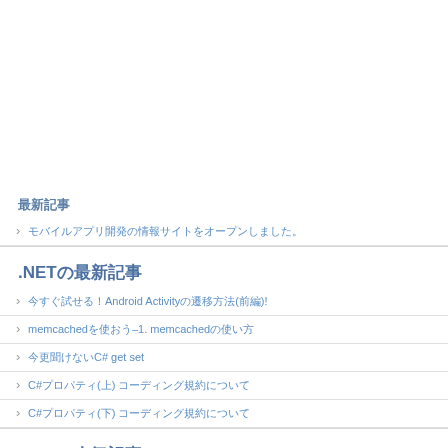最新記事
モバイルアプリ開発の情報サイトをオープンしました。
.NETの最新記事
今すぐ試せる！Android Activityの遷移方法(前編)!
memcachedを使おう–1. memcachedの使い方
今更聞けないC# get set
C#プロパティ(上) コーディング規約について
C#プロパティ(下) コーディング規約について
.NETの人気記事
.NETは+25%！最新プログラミング言語人気ランク54位まで
OWINとは
今更聞けない9つのパターン